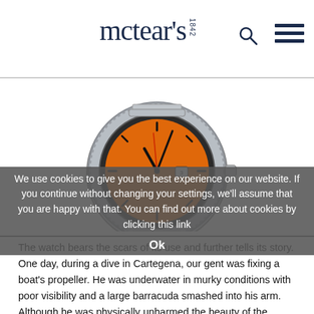mctear's 1842
[Figure (photo): A diver's wristwatch with an orange dial and stainless steel bracelet and bezel, photographed on a white background.]
We use cookies to give you the best experience on our website. If you continue without changing your settings, we'll assume that you are happy with that. You can find out more about cookies by clicking this link
Ok
The watch bears the scars of its use and further tells its story. One day, during a dive in Cartegena, our gent was fixing a boat's propeller. He was underwater in murky conditions with poor visibility and a large barracuda smashed into his arm. Although he was physically unharmed the beauty of the watch still bears the scar